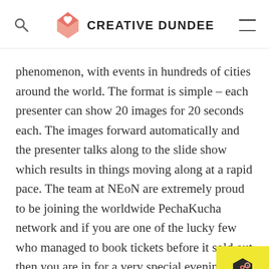CREATIVE DUNDEE
phenomenon, with events in hundreds of cities around the world. The format is simple – each presenter can show 20 images for 20 seconds each. The images forward automatically and the presenter talks along to the slide show which results in things moving along at a rapid pace. The team at NEoN are extremely proud to be joining the worldwide PechaKucha network and if you are one of the lucky few who managed to book tickets before it sold out then you are in for a very special evening indeed. For
[Figure (logo): JOIN AMPS badge in yellow with hexagonal icon]